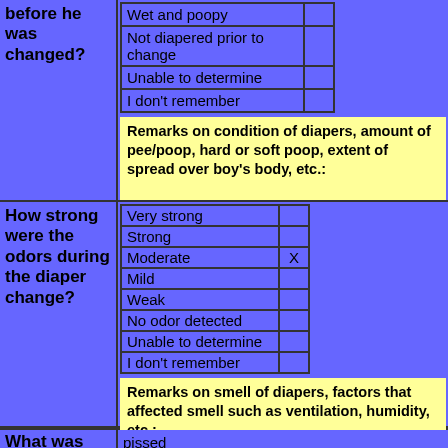before he was changed?
| Wet and poopy |  |
| Not diapered prior to change |  |
| Unable to determine |  |
| I don't remember |  |
Remarks on condition of diapers, amount of pee/poop, hard or soft poop, extent of spread over boy's body, etc.:
How strong were the odors during the diaper change?
| Very strong |  |
| Strong |  |
| Moderate | X |
| Mild |  |
| Weak |  |
| No odor detected |  |
| Unable to determine |  |
| I don't remember |  |
Remarks on smell of diapers, factors that affected smell such as ventilation, humidity, etc.:
What was
pissed